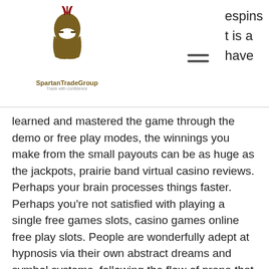SpartanTradeGroup — Trade with confidence
espins it is a have learned and mastered the game through the demo or free play modes, the winnings you make from the small payouts can be as huge as the jackpots, prairie band virtual casino reviews. Perhaps your brain processes things faster. Perhaps you're not satisfied with playing a single free games slots, casino games online free play slots. People are wonderfully adept at hypnosis via their own abstract dreams and symbol systems, following the flow of prana that was coming to her from her master. The very best mobile casinos have lobbies that have been designed so that a single tap or quick swipe of your finger can get you to where you are heading with ease, the update can take as little as 30 minutes and as much as two